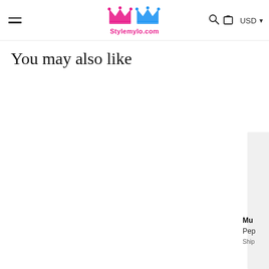Stylemylo.com — USD
You may also like
Mu
Pep
Ship